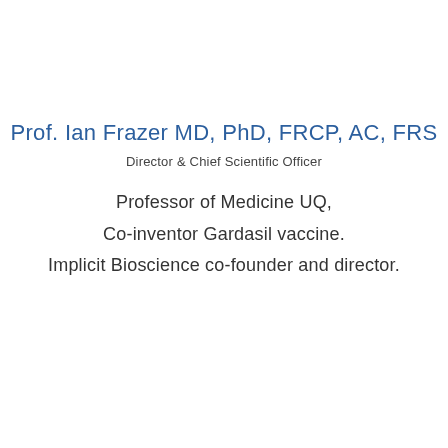Prof. Ian Frazer MD, PhD, FRCP, AC, FRS
Director & Chief Scientific Officer
Professor of Medicine UQ,
Co-inventor Gardasil vaccine.
Implicit Bioscience co-founder and director.